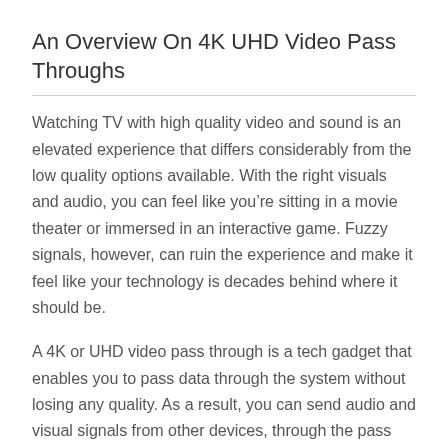An Overview On 4K UHD Video Pass Throughs
Watching TV with high quality video and sound is an elevated experience that differs considerably from the low quality options available. With the right visuals and audio, you can feel like you’re sitting in a movie theater or immersed in an interactive game. Fuzzy signals, however, can ruin the experience and make it feel like your technology is decades behind where it should be.
A 4K or UHD video pass through is a tech gadget that enables you to pass data through the system without losing any quality. As a result, you can send audio and visual signals from other devices, through the pass through, on to you 4K TV or 4K projector, all without losing any 4K resolution. With a 4K UHD video pass through, the